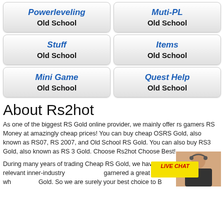[Figure (screenshot): Navigation button grid row 1: Powerleveling Old School | Muti-PL Old School]
[Figure (screenshot): Navigation button grid row 2: Stuff Old School | Items Old School]
[Figure (screenshot): Navigation button grid row 3: Mini Game Old School | Quest Help Old School]
About Rs2hot
As one of the biggest RS Gold online provider, we mainly offer rs gamers RS Money at amazingly cheap prices! You can buy cheap OSRS Gold, also known as RS07, RS 2007, and Old School RS Gold. You can also buy RS3 Gold, also known as RS 3 Gold. Choose Rs2hot Choose Best!
During many years of trading Cheap RS Gold, we have accumulated so many relevant inner-industry knowledge and garnered a great reputation among those who buy Old School Gold. So we are surely your best choice to Buy RS Gold online.
[Figure (screenshot): Live chat widget with agent photo and yellow LIVE CHAT badge]